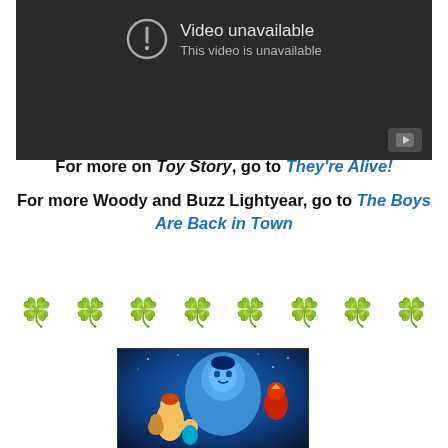[Figure (screenshot): YouTube video player showing 'Video unavailable / This video is unavailable' error message on dark background with play button icon in bottom right corner]
For more on Toy Story, go to They're Alive!
For more Woody and Buzz Lightyear, go to The Boys Are Back in Town
[Figure (illustration): Row of eight green four-leaf clover / shamrock emoji symbols]
[Figure (photo): Walt Disney Pictures Aladdin movie poster featuring the Genie and other characters on a blue background]